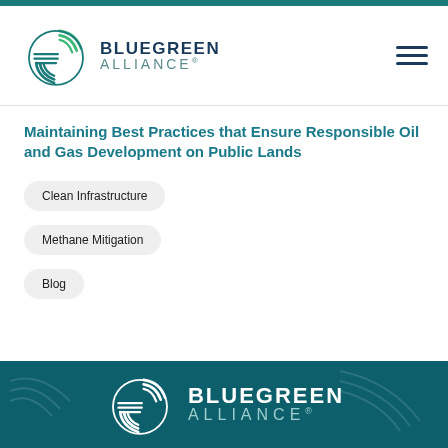BLUEGREEN ALLIANCE
Maintaining Best Practices that Ensure Responsible Oil and Gas Development on Public Lands
Clean Infrastructure
Methane Mitigation
Blog
[Figure (logo): Bluegreen Alliance logo in white on dark teal footer background]